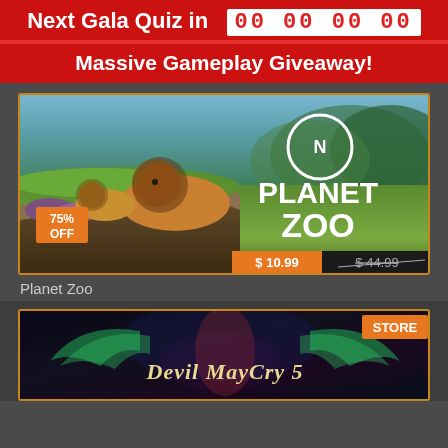Next Gala Quiz in  00 00 00 00
Massive Gameplay Giveaway!
[Figure (screenshot): Planet Zoo game promotional banner with lions on a cliff and green landscape. Shows 75% OFF discount badge. Price: $10.99, original price $44.99. Planet Zoo logo visible.]
Planet Zoo
[Figure (screenshot): Devil May Cry 5 game promotional banner with dark fantasy artwork showing character with wings. STORE badge in top right corner.]